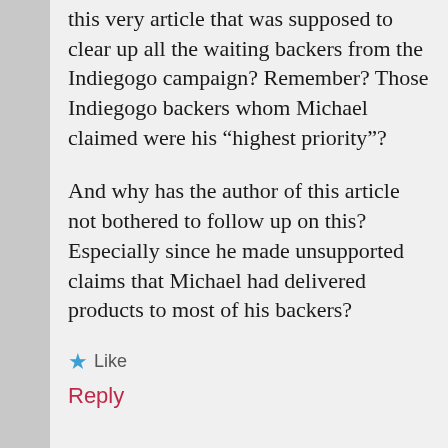this very article that was supposed to clear up all the waiting backers from the Indiegogo campaign? Remember? Those Indiegogo backers whom Michael claimed were his “highest priority”?
And why has the author of this article not bothered to follow up on this? Especially since he made unsupported claims that Michael had delivered products to most of his backers?
★ Like
Reply